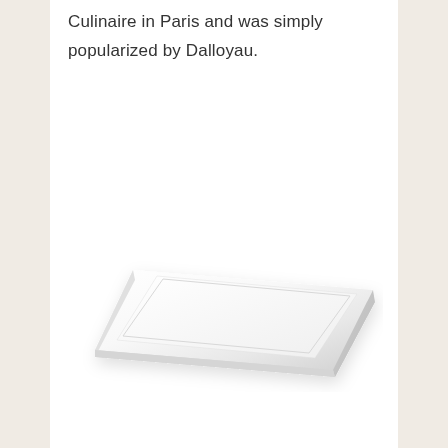Culinaire in Paris and was simply popularized by Dalloyau.
[Figure (photo): A white rectangular serving tray or platter photographed at an angle against a white background, showing a flat tray with slightly raised edges, viewed from a perspective angle.]